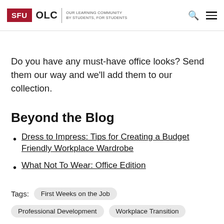SFU OLC | OUR LEARNING COMMUNITY BY STUDENTS, FOR STUDENTS
Do you have any must-have office looks? Send them our way and we'll add them to our collection.
Beyond the Blog
Dress to Impress: Tips for Creating a Budget Friendly Workplace Wardrobe
What Not To Wear: Office Edition
Tags: First Weeks on the Job  Professional Development  Workplace Transition